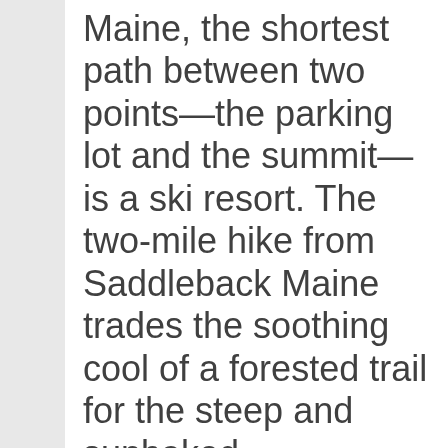Maine, the shortest path between two points—the parking lot and the summit—is a ski resort. The two-mile hike from Saddleback Maine trades the soothing cool of a forested trail for the steep and sunbaked